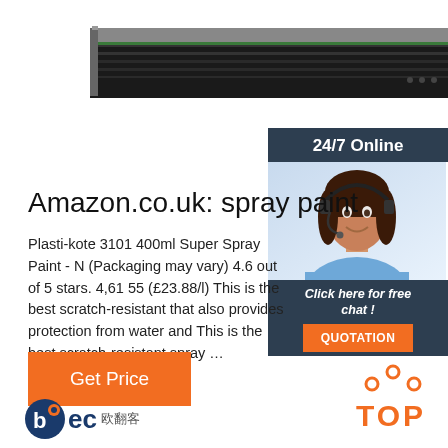[Figure (photo): Product shelf/rack image shown at top of page, dark metallic rack or tray]
[Figure (infographic): 24/7 Online customer service box with photo of woman with headset, dark blue background, orange QUOTATION button and 'Click here for free chat!' text]
Amazon.co.uk: spray paint
Plasti-kote 3101 400ml Super Spray Paint - N (Packaging may vary) 4.6 out of 5 stars. 4,61 55 (£23.88/l) This is the best scratch-resistant that also provides protection from water and This is the best scratch-resistant spray …
[Figure (other): Get Price orange button]
[Figure (logo): TOP icon with orange dots and text]
[Figure (logo): BEC logo with Chinese characters at bottom left]